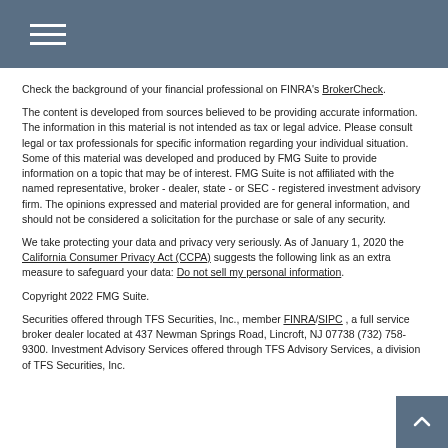Navigation menu header bar
Check the background of your financial professional on FINRA's BrokerCheck.
The content is developed from sources believed to be providing accurate information. The information in this material is not intended as tax or legal advice. Please consult legal or tax professionals for specific information regarding your individual situation. Some of this material was developed and produced by FMG Suite to provide information on a topic that may be of interest. FMG Suite is not affiliated with the named representative, broker - dealer, state - or SEC - registered investment advisory firm. The opinions expressed and material provided are for general information, and should not be considered a solicitation for the purchase or sale of any security.
We take protecting your data and privacy very seriously. As of January 1, 2020 the California Consumer Privacy Act (CCPA) suggests the following link as an extra measure to safeguard your data: Do not sell my personal information.
Copyright 2022 FMG Suite.
Securities offered through TFS Securities, Inc., member FINRA/SIPC , a full service broker dealer located at 437 Newman Springs Road, Lincroft, NJ 07738 (732) 758-9300. Investment Advisory Services offered through TFS Advisory Services, a division of TFS Securities, Inc.